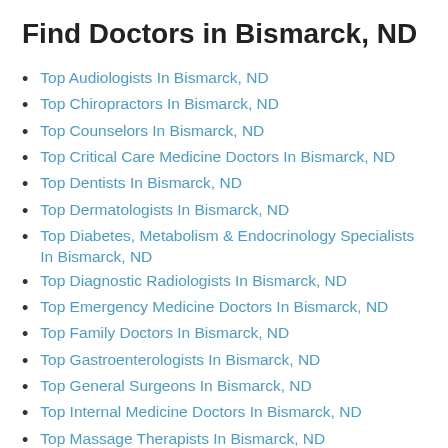Find Doctors in Bismarck, ND
Top Audiologists In Bismarck, ND
Top Chiropractors In Bismarck, ND
Top Counselors In Bismarck, ND
Top Critical Care Medicine Doctors In Bismarck, ND
Top Dentists In Bismarck, ND
Top Dermatologists In Bismarck, ND
Top Diabetes, Metabolism & Endocrinology Specialists In Bismarck, ND
Top Diagnostic Radiologists In Bismarck, ND
Top Emergency Medicine Doctors In Bismarck, ND
Top Family Doctors In Bismarck, ND
Top Gastroenterologists In Bismarck, ND
Top General Surgeons In Bismarck, ND
Top Internal Medicine Doctors In Bismarck, ND
Top Massage Therapists In Bismarck, ND
Top Naturopaths In Bismarck, ND
Top Nephrologists In Bismarck, ND